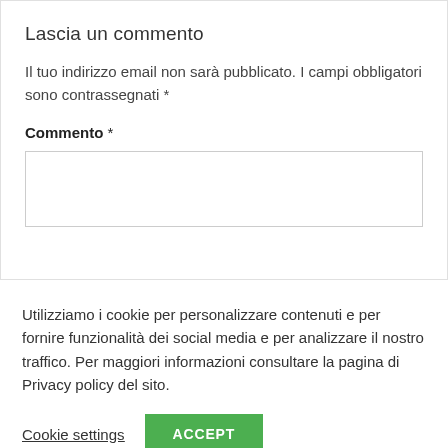Lascia un commento
Il tuo indirizzo email non sarà pubblicato. I campi obbligatori sono contrassegnati *
Commento *
[Figure (other): Empty comment textarea input box]
Utilizziamo i cookie per personalizzare contenuti e per fornire funzionalità dei social media e per analizzare il nostro traffico. Per maggiori informazioni consultare la pagina di Privacy policy del sito.
Cookie settings   ACCEPT